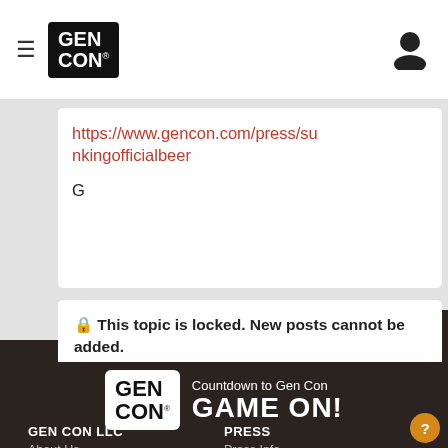[Figure (logo): Gen Con logo in black box with hamburger menu icon on left and user icon on right in navigation bar]
https://www.gencon.com/press/sunkingofficialbeer
G
🔒 This topic is locked. New posts cannot be added.
FORUMS ▶ ARCHIVE ▶ GEN CON 2019 ▶ GENERAL INFO 2019 ▶ GEN CON HOURS
[Figure (logo): Gen Con logo in white box with Countdown to Gen Con GAME ON! text on dark background footer]
GEN CON LLC
About Us
PRESS
Press Info